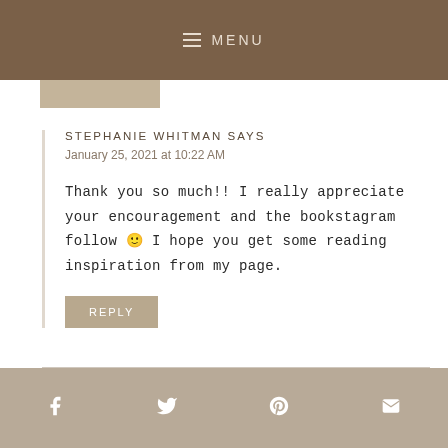MENU
STEPHANIE WHITMAN SAYS
January 25, 2021 at 10:22 AM
Thank you so much!! I really appreciate your encouragement and the bookstagram follow 🙂 I hope you get some reading inspiration from my page.
REPLY
f  twitter  p  mail